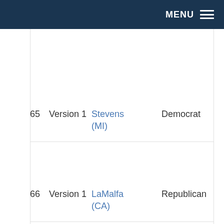MENU
| # | Version | Name | Party |
| --- | --- | --- | --- |
| 65 | Version 1 | Stevens (MI) | Democrat |
| 66 | Version 1 | LaMalfa (CA) | Republican |